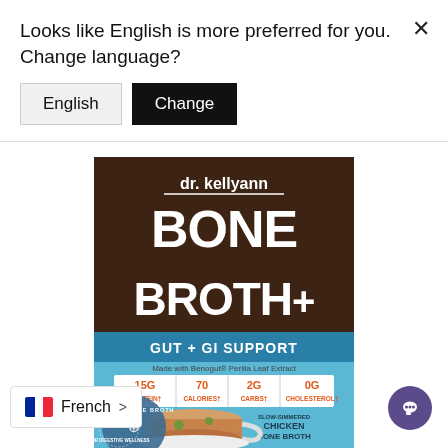Looks like English is more preferred for you. Change language?
English
Change
[Figure (photo): Dr. Kellyann Bone Broth+ Gut + GI Support product box. Brown and blue packaging with white text. Shows 15G Protein, 70 Calories, 2G Carbs, 0G Cholesterol. Slow-simmered Chicken Bone Broth. Made with Benogu Perilla Leaf Extract. Image of a cup of broth with herbs.]
French